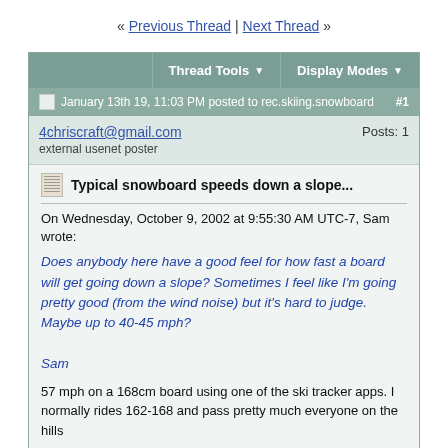« Previous Thread | Next Thread »
Thread Tools ▼   Display Modes ▼
January 13th 19, 11:03 PM posted to rec.skiing.snowboard  #1
4chriscraft@gmail.com  Posts: 1  external usenet poster
Typical snowboard speeds down a slope...
On Wednesday, October 9, 2002 at 9:55:30 AM UTC-7, Sam wrote:
Does anybody here have a good feel for how fast a board will get going down a slope? Sometimes I feel like I'm going pretty good (from the wind noise) but it's hard to judge. Maybe up to 40-45 mph?
Sam
57 mph on a 168cm board using one of the ski tracker apps. I normally rides 162-168 and pass pretty much everyone on the hills